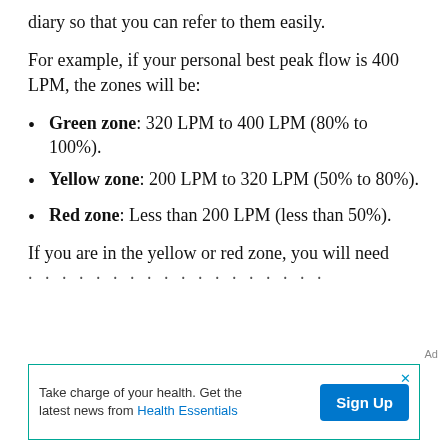diary so that you can refer to them easily.
For example, if your personal best peak flow is 400 LPM, the zones will be:
Green zone: 320 LPM to 400 LPM (80% to 100%).
Yellow zone: 200 LPM to 320 LPM (50% to 80%).
Red zone: Less than 200 LPM (less than 50%).
If you are in the yellow or red zone, you will need
Ad
Take charge of your health. Get the latest news from Health Essentials  Sign Up